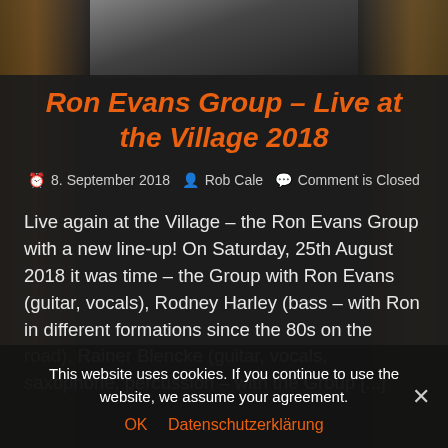[Figure (photo): Dark background photo with blurred brewery/amber bokeh lighting on sides, and a partial grayscale image at top]
Ron Evans Group – Live at the Village 2018
🕐 8. September 2018  👤 Rob Cale  💬 Comment is Closed
Live again at the Village – the Ron Evans Group with a new line-up! On Saturday, 25th August 2018 it was time – the Group with Ron Evans (guitar, vocals), Rodney Harley (bass – with Ron in different formations since the 80s on the road), Rainer Blencke (guitar, vocals, saxophone, percussion – with the Group [...]
This website uses cookies. If you continue to use the website, we assume your agreement.
OK   Datenschutzerklärung